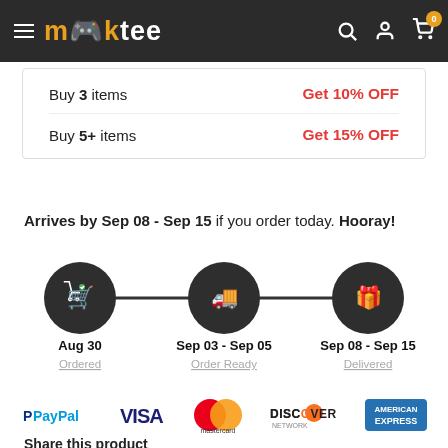mktee — navigation header with logo, search, account, and cart icons
Buy 3 items — Get 10% OFF
Buy 5+ items — Get 15% OFF
Arrives by Sep 08 - Sep 15 if you order today. Hooray!
[Figure (infographic): Shipping timeline with three steps: Aug 30 (Ordered), Sep 03 - Sep 05 (Order Ready), Sep 08 - Sep 15 (Delivered). Dark circles with icons connected by a horizontal line.]
[Figure (infographic): Payment method logos: PayPal, VISA, Mastercard, Discover Network, American Express]
Share this product